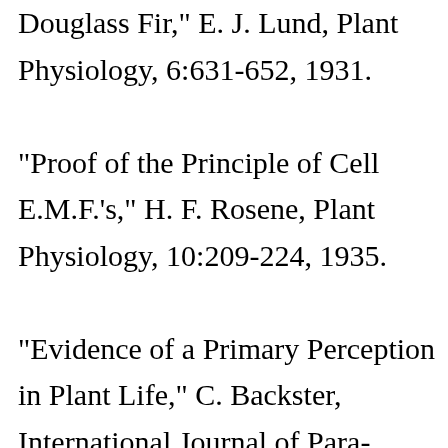Douglass Fir," E. J. Lund, Plant Physiology, 6:631-652, 1931. "Proof of the Principle of Cell E.M.F.'s," H. F. Rosene, Plant Physiology, 10:209-224, 1935. "Evidence of a Primary Perception in Plant Life," C. Backster, International Journal of Para-psychology, 10:4, Winter 1968.